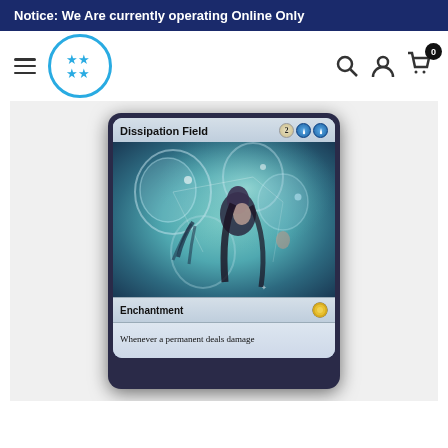Notice: We Are currently operating Online Only
[Figure (screenshot): Website navigation header with hamburger menu, circular logo with blue star icons, search icon, account icon, and cart icon with badge showing 0]
[Figure (photo): Magic: The Gathering card 'Dissipation Field' - Enchantment costing 2 blue blue mana, with fantasy artwork showing a woman surrounded by geometric bubble patterns. Card type bar shows Enchantment with set symbol. Text box begins: Whenever a permanent deals damage]